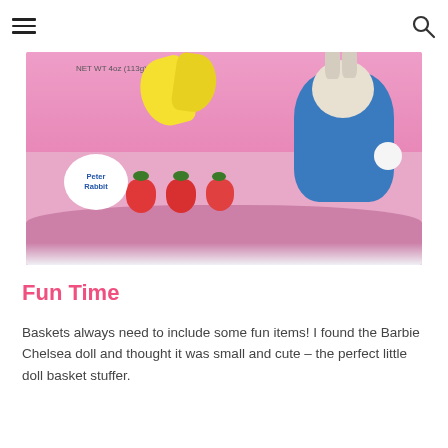[Figure (photo): Close-up photo of a pink Peter Rabbit branded strawberry snack package with strawberries, bananas, and a Peter Rabbit figurine visible on the packaging. NET WT 4oz (113g) label visible.]
Fun Time
Baskets always need to include some fun items! I found the Barbie Chelsea doll and thought it was small and cute – the perfect little doll basket stuffer.